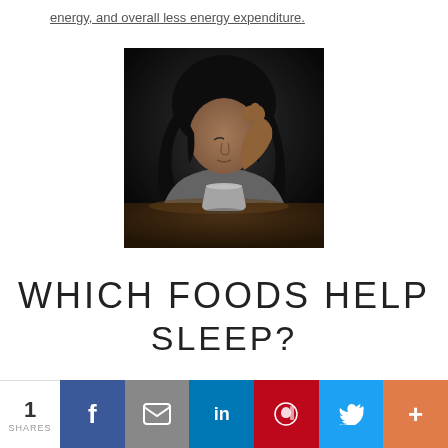energy, and overall less energy expenditure.
[Figure (photo): A person with dark hair sitting at a wooden table, holding their head in one hand with eyes closed, looking tired or stressed. A paper cup sits on the table in front of them. Dark, moody lighting.]
WHICH FOODS HELP SLEEP?
1 SHARES | Facebook | Email | LinkedIn | Pinterest | Twitter | More